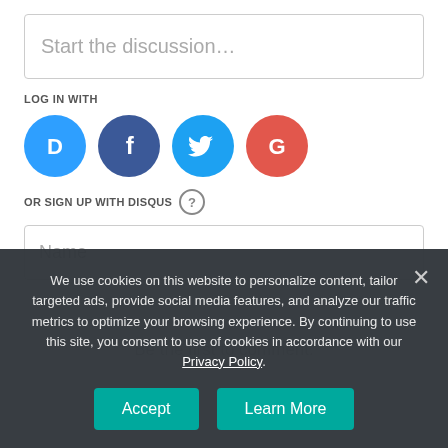Start the discussion…
LOG IN WITH
[Figure (logo): Four social login icons: Disqus (blue), Facebook (dark blue), Twitter (light blue), Google (red)]
OR SIGN UP WITH DISQUS ?
Name
Be the first to comment.
We use cookies on this website to personalize content, tailor targeted ads, provide social media features, and analyze our traffic metrics to optimize your browsing experience. By continuing to use this site, you consent to use of cookies in accordance with our Privacy Policy.
Accept
Learn More